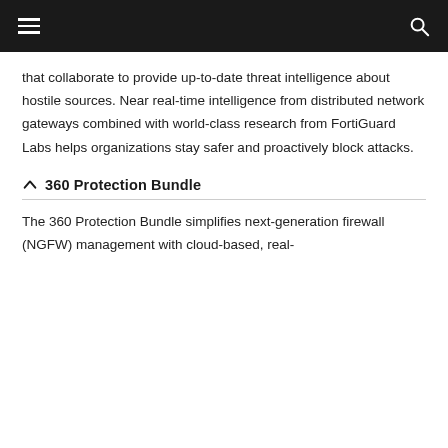navigation bar with hamburger menu and search icon
that collaborate to provide up-to-date threat intelligence about hostile sources. Near real-time intelligence from distributed network gateways combined with world-class research from FortiGuard Labs helps organizations stay safer and proactively block attacks.
360 Protection Bundle
The 360 Protection Bundle simplifies next-generation firewall (NGFW) management with cloud-based, real-